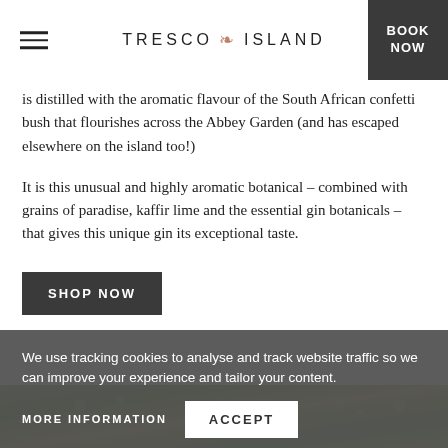TRESCO ISLAND
is distilled with the aromatic flavour of the South African confetti bush that flourishes across the Abbey Garden (and has escaped elsewhere on the island too!)
It is this unusual and highly aromatic botanical – combined with grains of paradise, kaffir lime and the essential gin botanicals – that gives this unique gin its exceptional taste.
SHOP NOW
[Figure (photo): Photo strip of flowers and foliage in the Abbey Garden]
We use tracking cookies to analyse and track website traffic so we can improve your experience and tailor your content.
MORE INFORMATION
ACCEPT